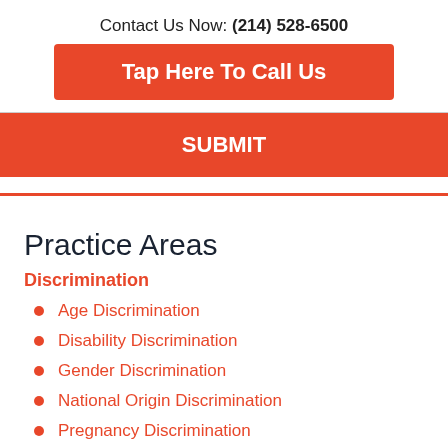Contact Us Now: (214) 528-6500
Tap Here To Call Us
SUBMIT
Practice Areas
Discrimination
Age Discrimination
Disability Discrimination
Gender Discrimination
National Origin Discrimination
Pregnancy Discrimination